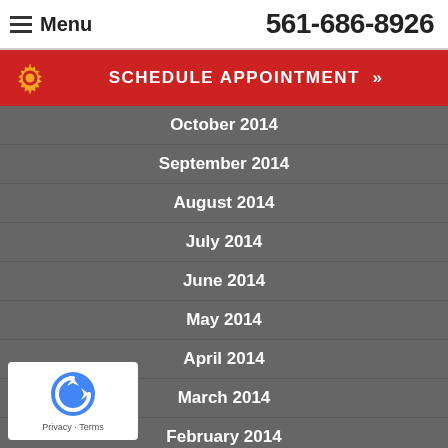Menu  561-686-8926
SCHEDULE APPOINTMENT »
October 2014
September 2014
August 2014
July 2014
June 2014
May 2014
April 2014
March 2014
February 2014
January 2014
[Figure (logo): reCAPTCHA logo badge with Privacy and Terms links]